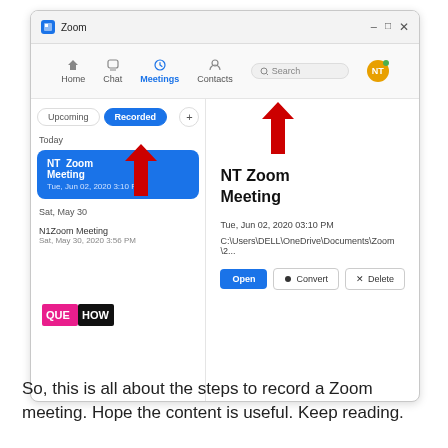[Figure (screenshot): Zoom desktop app window showing the Meetings tab with Recorded sub-tab selected. Left panel shows 'NT Zoom Meeting' on Tue, Jun 02, 2020 3:10 PM (highlighted blue) and 'N1Zoom Meeting' on Sat, May 30, 2020 3:56 PM. Right panel shows meeting details: NT Zoom Meeting, Tue, Jun 02, 2020 03:10 PM, file path C:\Users\DELL\OneDrive\Documents\Zoom\2..., with Open, Convert, and Delete buttons. Two red arrows point to the Meetings tab and the Recorded sub-tab.]
[Figure (logo): QUEHOW logo in pink/magenta and black text]
So, this is all about the steps to record a Zoom meeting. Hope the content is useful. Keep reading.